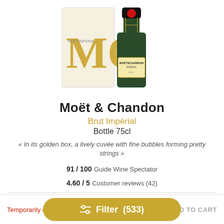[Figure (photo): Moët & Chandon Brut Impérial champagne bottle with golden gift box]
Moët & Chandon
Brut Impérial
Bottle 75cl
« In its golden box, a lively cuvée with fine bubbles forming pretty strings »
91 / 100 Guide Wine Spectator
4.60 / 5 Customer reviews (42)
38.95 £  each
Temporarily out of st…
Filter (533)
ADD TO CART